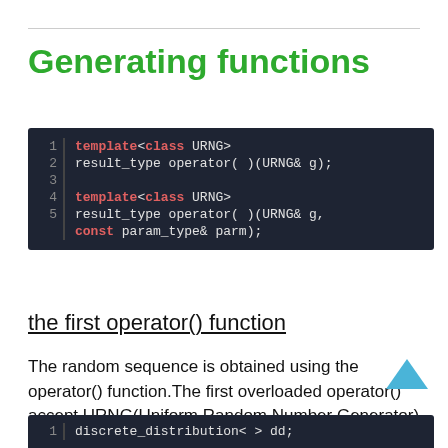Generating functions
[Figure (screenshot): Code block showing template<class URNG> and result_type operator()() function signatures on dark background]
the first operator() function
The random sequence is obtained using the operator() function. The first overloaded operator() accept URNG(Uniform Random Number Generator) or engine.
[Figure (screenshot): Code block showing line 1: discrete_distribution< > dd;]